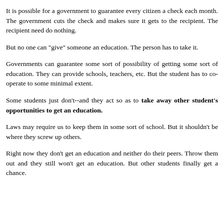It is possible for a government to guarantee every citizen a check each month. The government cuts the check and makes sure it gets to the recipient. The recipient need do nothing.
But no one can "give" someone an education. The person has to take it.
Governments can guarantee some sort of possibility of getting some sort of education. They can provide schools, teachers, etc. But the student has to co-operate to some minimal extent.
Some students just don't--and they act so as to take away other student's opportunities to get an education.
Laws may require us to keep them in some sort of school. But it shouldn't be where they screw up others.
Right now they don't get an education and neither do their peers. Throw them out and they still won't get an education. But other students finally get a chance.